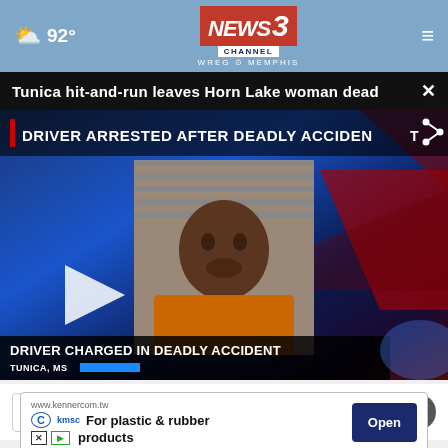92° NEWS CHANNEL 3 WREG MEMPHIS
Tunica hit-and-run leaves Horn Lake woman dead ×
[Figure (screenshot): TV news broadcast video thumbnail showing mugshot of suspect with chyron text: DRIVER ARRESTED AFTER DEADLY ACCIDENT and DRIVER CHARGED IN DEADLY ACCIDENT, TUNICA, MS. Play button visible on left side.]
Read More Top Stories  >
www.kennercom.tw
For plastic & rubber products
Open